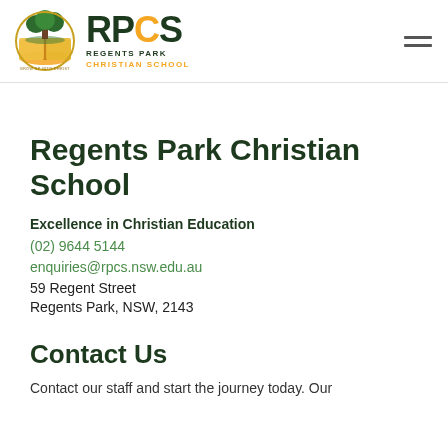[Figure (logo): RPCS Regents Park Christian School logo with a tree/book emblem. Text shows RPCS in large dark green with C in gold, and subtitle REGENTS PARK CHRISTIAN SCHOOL.]
Regents Park Christian School
Excellence in Christian Education
(02) 9644 5144
enquiries@rpcs.nsw.edu.au
59 Regent Street
Regents Park, NSW, 2143
Contact Us
Contact our staff and start the journey today. Our